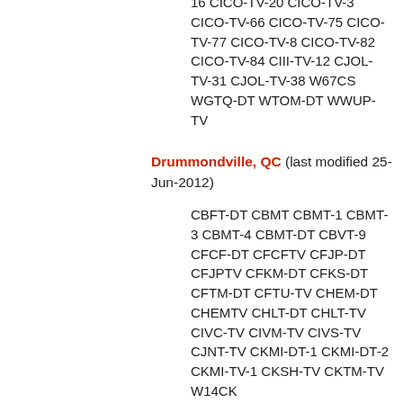16 CICO-TV-20 CICO-TV-3 CICO-TV-66 CICO-TV-75 CICO-TV-77 CICO-TV-8 CICO-TV-82 CICO-TV-84 CIII-TV-12 CJOL-TV-31 CJOL-TV-38 W67CS WGTQ-DT WTOM-DT WWUP-TV
Drummondville, QC (last modified 25-Jun-2012)
CBFT-DT CBMT CBMT-1 CBMT-3 CBMT-4 CBMT-DT CBVT-9 CFCF-DT CFCFTV CFJP-DT CFJPTV CFKM-DT CFKS-DT CFTM-DT CFTU-TV CHEM-DT CHEMTV CHLT-DT CHLT-TV CIVC-TV CIVM-TV CIVS-TV CJNT-TV CKMI-DT-1 CKMI-DT-2 CKMI-TV-1 CKSH-TV CKTM-TV W14CK